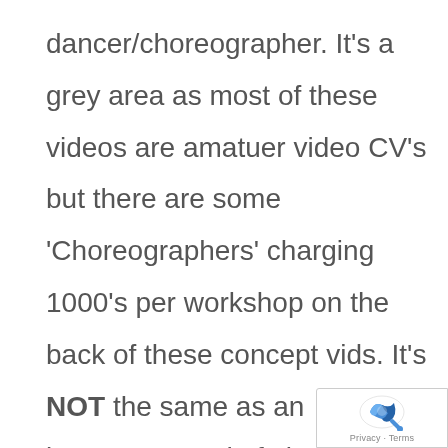dancer/choreographer. It's a grey area as most of these videos are amatuer video CV's but there are some 'Choreographers' charging 1000's per workshop on the back of these concept vids. It's NOT the same as an impromptu end of class video snip. Are those dancers being compensated? Should they